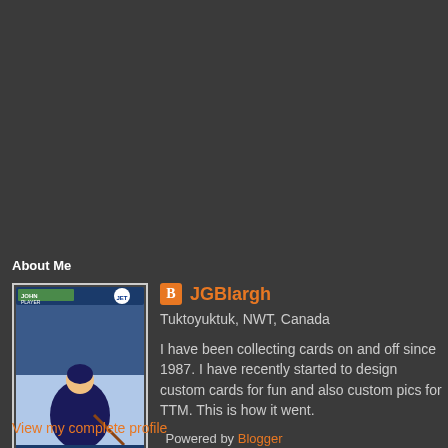About Me
[Figure (photo): Hockey card style photo of a player on the ice, with a Winnipeg Jets logo visible, bordered like a trading card]
JGBlargh
Tuktoyuktuk, NWT, Canada
I have been collecting cards on and off since 1987. I have recently started to design custom cards for fun and also custom pics for TTM. This is how it went.
View my complete profile
Powered by Blogger